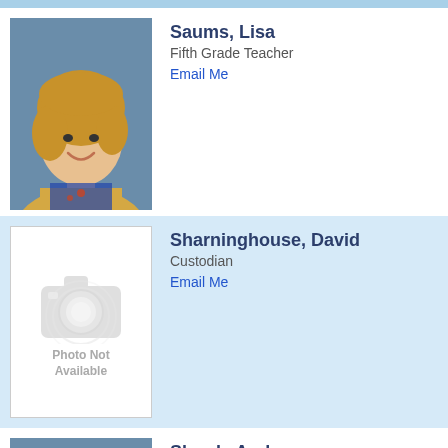[Figure (photo): Photo of Lisa Saums, a woman with blonde hair wearing a yellow blazer, smiling against a blue background]
Saums, Lisa
Fifth Grade Teacher
Email Me
[Figure (photo): Photo Not Available placeholder with camera icon]
Sharninghouse, David
Custodian
Email Me
[Figure (photo): Photo of Andrea Slezak, a woman with short brown hair wearing a white top, smiling against a blue background]
Slezak, Andrea
6th Social Studies
Email Me